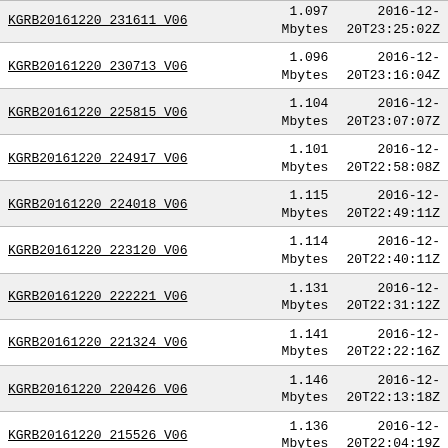| Name | Size | Date |
| --- | --- | --- |
| KGRB20161220 231611 V06 | 1.097 Mbytes | 2016-12-20T23:25:02Z |
| KGRB20161220 230713 V06 | 1.096 Mbytes | 2016-12-20T23:16:04Z |
| KGRB20161220 225815 V06 | 1.104 Mbytes | 2016-12-20T23:07:07Z |
| KGRB20161220 224917 V06 | 1.101 Mbytes | 2016-12-20T22:58:08Z |
| KGRB20161220 224018 V06 | 1.115 Mbytes | 2016-12-20T22:49:11Z |
| KGRB20161220 223120 V06 | 1.114 Mbytes | 2016-12-20T22:40:11Z |
| KGRB20161220 222221 V06 | 1.131 Mbytes | 2016-12-20T22:31:12Z |
| KGRB20161220 221324 V06 | 1.141 Mbytes | 2016-12-20T22:22:16Z |
| KGRB20161220 220426 V06 | 1.146 Mbytes | 2016-12-20T22:13:18Z |
| KGRB20161220 215526 V06 | 1.136 Mbytes | 2016-12-20T22:04:19Z |
| KGRB20161220 214627 V06 | 1.140 Mbytes | 2016-12-20T21:55:19Z |
| KGRB20161220 213728 V06 | 1.129 Mbytes | 2016-12-20T21:46:20Z |